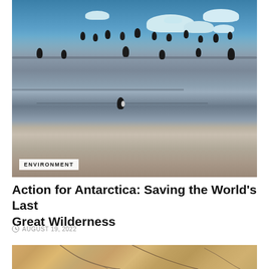[Figure (photo): Penguins standing on rocky outcrop with icebergs and blue ocean water in the background. An 'ENVIRONMENT' label tag is overlaid in the bottom-left corner of the image.]
Action for Antarctica: Saving the World's Last Great Wilderness
AUGUST 19, 2022
[Figure (photo): Partial view of an aerial or satellite image showing sandy/rocky desert terrain with cracks and warm earth tones.]